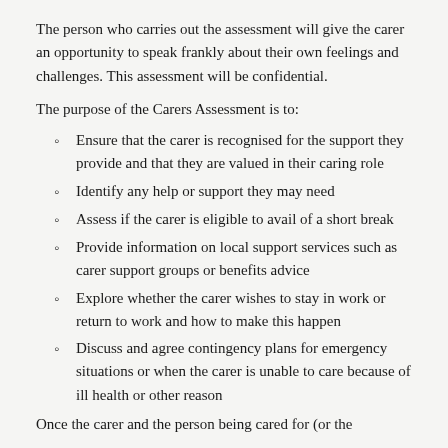The person who carries out the assessment will give the carer an opportunity to speak frankly about their own feelings and challenges. This assessment will be confidential.
The purpose of the Carers Assessment is to:
Ensure that the carer is recognised for the support they provide and that they are valued in their caring role
Identify any help or support they may need
Assess if the carer is eligible to avail of a short break
Provide information on local support services such as carer support groups or benefits advice
Explore whether the carer wishes to stay in work or return to work and how to make this happen
Discuss and agree contingency plans for emergency situations or when the carer is unable to care because of ill health or other reason
Once the carer and the person being cared for (or the...